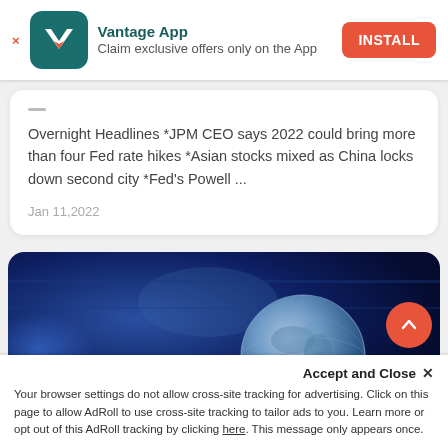[Figure (screenshot): Vantage App advertisement banner with app icon (teal background with white V logo), app name 'Vantage App', tagline 'Claim exclusive offers only on the App', and orange INSTALL button. Close X on left.]
Overnight Headlines *JPM CEO says 2022 could bring more than four Fed rate hikes *Asian stocks mixed as China locks down second city *Fed's Powell ...
Jan 11,2022
[Figure (photo): Blue-toned photo of a globe (Earth) on a dark blue technology/network background with blurred lights and screens.]
Accept and Close ×
Your browser settings do not allow cross-site tracking for advertising. Click on this page to allow AdRoll to use cross-site tracking to tailor ads to you. Learn more or opt out of this AdRoll tracking by clicking here. This message only appears once.